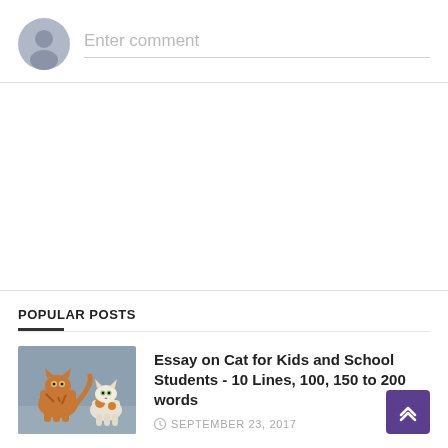Enter comment
POPULAR POSTS
[Figure (photo): Two orange tabby cats standing on a concrete surface]
Essay on Cat for Kids and School Students - 10 Lines, 100, 150 to 200 words
SEPTEMBER 23, 2017